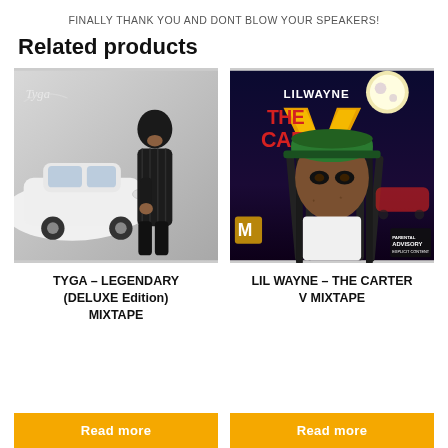FINALLY THANK YOU AND DONT BLOW YOUR SPEAKERS!
Related products
[Figure (photo): Album cover / promotional photo for TYGA – LEGENDARY (DELUXE Edition) MIXTAPE: man in black pinstripe suit standing by a white Rolls Royce, with handwritten signature at top]
[Figure (photo): Album cover for LIL WAYNE – THE CARTER V MIXTAPE: Lil Wayne in white shirt with dreadlocks, moon in background, stylized text 'LIL WAYNE THE CARTER V MIXTAPE']
TYGA – LEGENDARY (DELUXE Edition) MIXTAPE
LIL WAYNE – THE CARTER V MIXTAPE
Read more
Read more